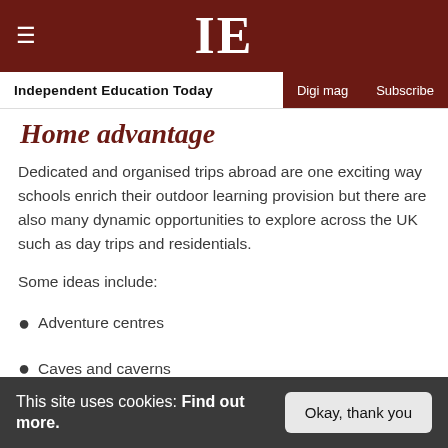IE — Independent Education Today | Digi mag | Subscribe
Home advantage
Dedicated and organised trips abroad are one exciting way schools enrich their outdoor learning provision but there are also many dynamic opportunities to explore across the UK such as day trips and residentials.
Some ideas include:
Adventure centres
Caves and caverns
Climbing centres
This site uses cookies: Find out more. | Okay, thank you